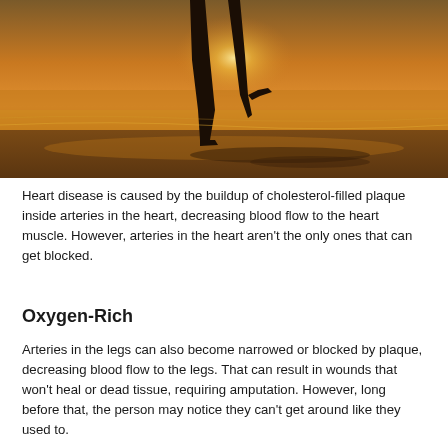[Figure (photo): Silhouette of a person's legs running on a beach at sunset, with golden/orange tones reflecting on wet sand and ocean waves in the background.]
Heart disease is caused by the buildup of cholesterol-filled plaque inside arteries in the heart, decreasing blood flow to the heart muscle. However, arteries in the heart aren't the only ones that can get blocked.
Oxygen-Rich
Arteries in the legs can also become narrowed or blocked by plaque, decreasing blood flow to the legs. That can result in wounds that won't heal or dead tissue, requiring amputation. However, long before that, the person may notice they can't get around like they used to.